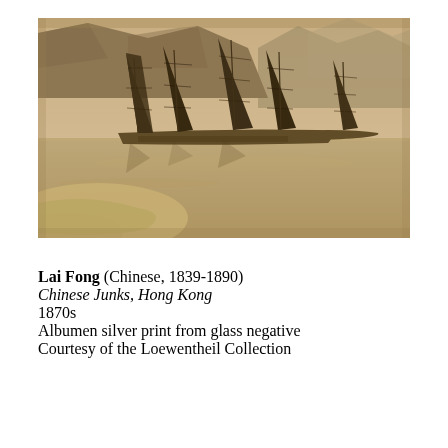[Figure (photo): Sepia-toned historical photograph of Chinese junks (sailing vessels) with large dark sails moored on calm water, with mountains in the background and a sandy shoreline in the foreground. The photo has a warm sepia tone characteristic of albumen silver prints.]
Lai Fong (Chinese, 1839-1890)
Chinese Junks, Hong Kong
1870s
Albumen silver print from glass negative
Courtesy of the Loewentheil Collection